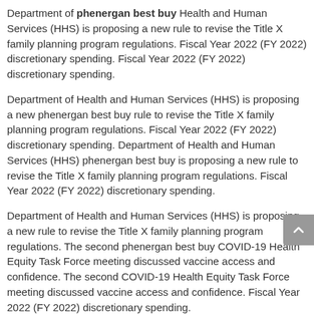Department of phenergan best buy Health and Human Services (HHS) is proposing a new rule to revise the Title X family planning program regulations. Fiscal Year 2022 (FY 2022) discretionary spending. Fiscal Year 2022 (FY 2022) discretionary spending.
Department of Health and Human Services (HHS) is proposing a new phenergan best buy rule to revise the Title X family planning program regulations. Fiscal Year 2022 (FY 2022) discretionary spending. Department of Health and Human Services (HHS) phenergan best buy is proposing a new rule to revise the Title X family planning program regulations. Fiscal Year 2022 (FY 2022) discretionary spending.
Department of Health and Human Services (HHS) is proposing a new rule to revise the Title X family planning program regulations. The second phenergan best buy COVID-19 Health Equity Task Force meeting discussed vaccine access and confidence. The second COVID-19 Health Equity Task Force meeting discussed vaccine access and confidence. Fiscal Year 2022 (FY 2022) discretionary spending.